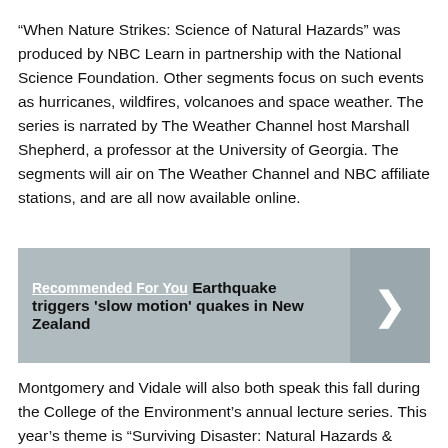“When Nature Strikes: Science of Natural Hazards” was produced by NBC Learn in partnership with the National Science Foundation. Other segments focus on such events as hurricanes, wildfires, volcanoes and space weather. The series is narrated by The Weather Channel host Marshall Shepherd, a professor at the University of Georgia. The segments will air on The Weather Channel and NBC affiliate stations, and are all now available online.
Recommended For You  Earthquake triggers 'slow motion' quakes in New Zealand
Montgomery and Vidale will also both speak this fall during the College of the Environment’s annual lecture series. This year’s theme is “Surviving Disaster: Natural Hazards & Resilient